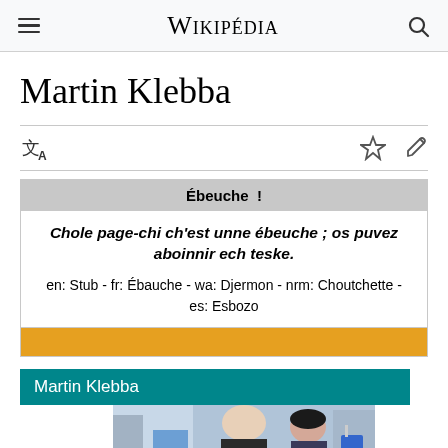WIKIPÉDIA
Martin Klebba
| Ébeuche ! |
| Chole page-chi ch'est unne ébeuche ; os puvez aboinnir ech teske. |
| en: Stub - fr: Ébauche - wa: Djermon - nrm: Choutchette - es: Esbozo |
Martin Klebba
[Figure (photo): Photo of Martin Klebba at a public event, showing a bald man and a woman]